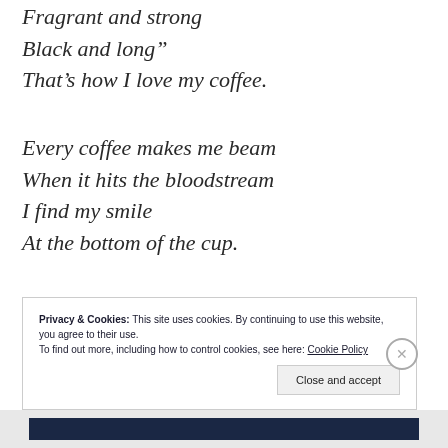Fragrant and strong
Black and long"
That's how I love my coffee.
Every coffee makes me beam
When it hits the bloodstream
I find my smile
At the bottom of the cup.
Smile- you have had your coffee!
Privacy & Cookies: This site uses cookies. By continuing to use this website, you agree to their use.
To find out more, including how to control cookies, see here: Cookie Policy
Close and accept